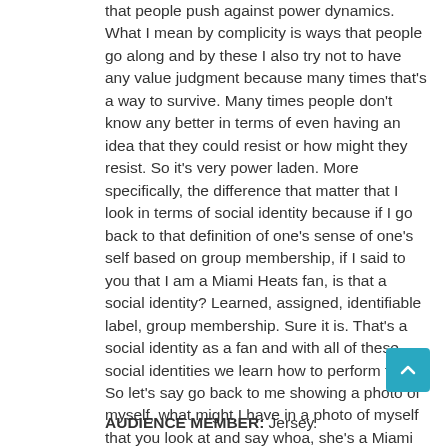that people push against power dynamics. What I mean by complicity is ways that people go along and by these I also try not to have any value judgment because many times that's a way to survive. Many times people don't know any better in terms of even having an idea that they could resist or how might they resist. So it's very power laden. More specifically, the difference that matter that I look in terms of social identity because if I go back to that definition of one's sense of one's self based on group membership, if I said to you that I am a Miami Heats fan, is that a social identity? Learned, assigned, identifiable label, group membership. Sure it is. That's a social identity as a fan and with all of these social identities we learn how to perform them. So let's say go back to me showing a photo of myself, what might I have in a photo of myself that you look at and say whoa, she's a Miami Heats fan?
AUDIENCE MEMBER: Jersey.